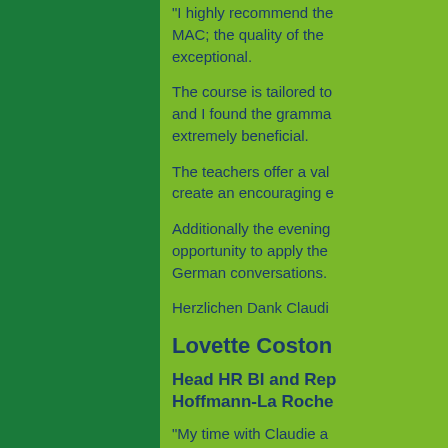"I highly recommend the MAC; the quality of the exceptional.
The course is tailored to and I found the gramma extremely beneficial.
The teachers offer a val create an encouraging e
Additionally the evening opportunity to apply the German conversations.
Herzlichen Dank Claudi
Lovette Coston
Head HR BI and Rep Hoffmann-La Roche
"My time with Claudie a
It was a great environme
The whole team spoke a grow throughout the w